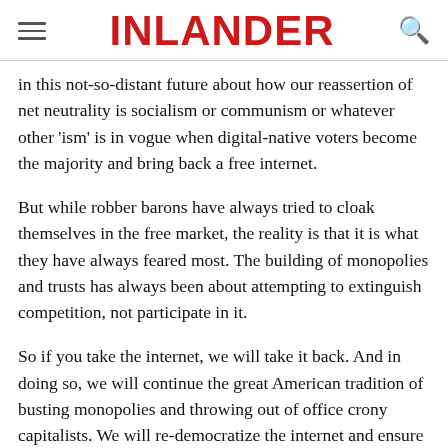INLANDER
in this not-so-distant future about how our reassertion of net neutrality is socialism or communism or whatever other 'ism' is in vogue when digital-native voters become the majority and bring back a free internet.
But while robber barons have always tried to cloak themselves in the free market, the reality is that it is what they have always feared most. The building of monopolies and trusts has always been about attempting to extinguish competition, not participate in it.
So if you take the internet, we will take it back. And in doing so, we will continue the great American tradition of busting monopolies and throwing out of office crony capitalists. We will re-democratize the internet and ensure every entrepreneur with a great idea gets a fair shot.
Or we all could agree, right now, not to start down this road in the